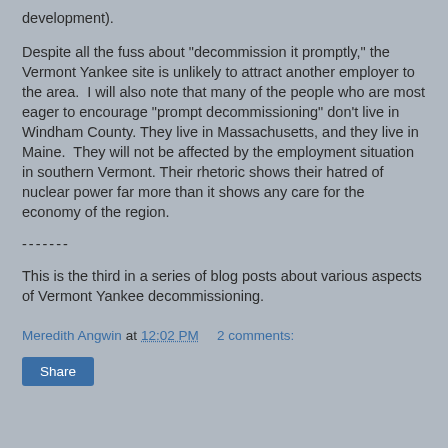development).
Despite all the fuss about "decommission it promptly," the Vermont Yankee site is unlikely to attract another employer to the area.  I will also note that many of the people who are most eager to encourage "prompt decommissioning" don't live in Windham County. They live in Massachusetts, and they live in Maine.  They will not be affected by the employment situation in southern Vermont. Their rhetoric shows their hatred of nuclear power far more than it shows any care for the economy of the region.
-------
This is the third in a series of blog posts about various aspects of Vermont Yankee decommissioning.
Meredith Angwin at 12:02 PM   2 comments:
Share